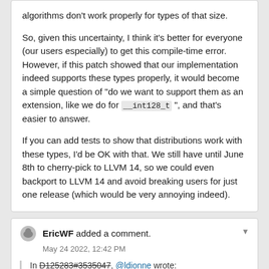algorithms don't work properly for types of that size.

So, given this uncertainty, I think it's better for everyone (our users especially) to get this compile-time error. However, if this patch showed that our implementation indeed supports these types properly, it would become a simple question of "do we want to support them as an extension, like we do for __int128_t ", and that's easier to answer.

If you can add tests to show that distributions work with these types, I'd be OK with that. We still have until June 8th to cherry-pick to LLVM 14, so we could even backport to LLVM 14 and avoid breaking users for just one release (which would be very annoying indeed).
EricWF added a comment.
May 24 2022, 12:42 PM
In D125283#3535047, @ldionne wrote:
If you can add tests to show that distributions work with these